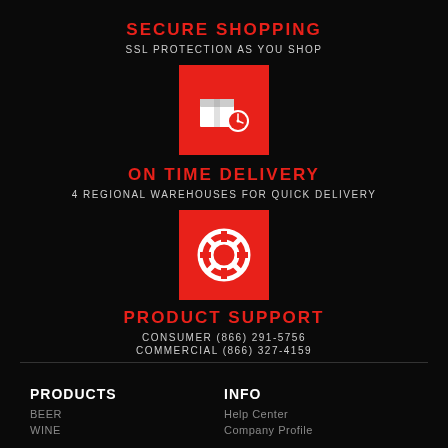SECURE SHOPPING
SSL PROTECTION AS YOU SHOP
[Figure (illustration): Red square icon with white delivery package and clock symbol]
ON TIME DELIVERY
4 REGIONAL WAREHOUSES FOR QUICK DELIVERY
[Figure (illustration): Red square icon with white life ring / support symbol]
PRODUCT SUPPORT
CONSUMER (866) 291-5756
COMMERCIAL (866) 327-4159
PRODUCTS
BEER
WINE
INFO
Help Center
Company Profile